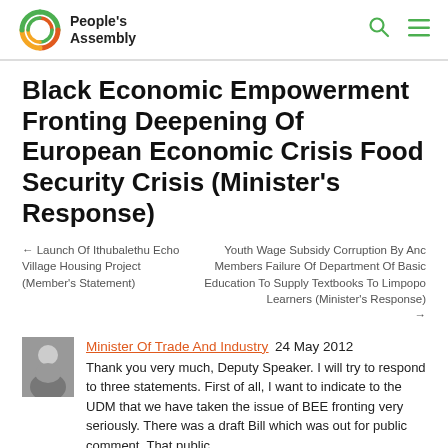People's Assembly
Black Economic Empowerment Fronting Deepening Of European Economic Crisis Food Security Crisis (Minister's Response)
← Launch Of Ithubalethu Echo Village Housing Project (Member's Statement)
Youth Wage Subsidy Corruption By Anc Members Failure Of Department Of Basic Education To Supply Textbooks To Limpopo Learners (Minister's Response) →
Minister Of Trade And Industry 24 May 2012
Thank you very much, Deputy Speaker. I will try to respond to three statements. First of all, I want to indicate to the UDM that we have taken the issue of BEE fronting very seriously. There was a draft Bill which was out for public comment. That public